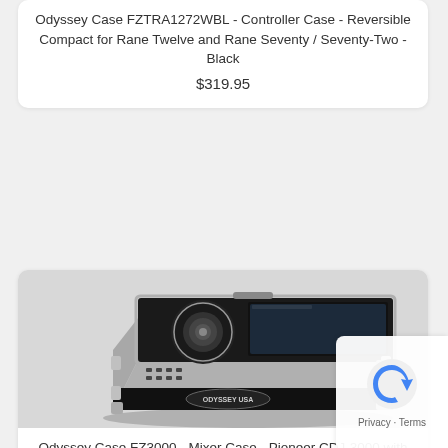Odyssey Case FZTRA1272WBL - Controller Case - Reversible Compact for Rane Twelve and Rane Seventy / Seventy-Two - Black
$319.95
[Figure (photo): Photo of Odyssey Case FZ3000 - a black and silver flight case for Pioneer CDJ-3000 DJ media player with Odyssey USA logo on the front]
Odyssey Case FZ3000 - Mixer Case - Pioneer CDJ-3000 with Removable Back Panel
$159.95